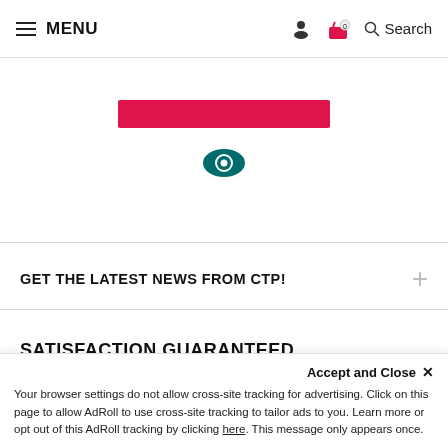MENU | Search
[Figure (illustration): Red horizontal button/banner element]
[Figure (illustration): Teal/green eye icon symbol]
GET THE LATEST NEWS FROM CTP!
SATISFACTION GUARANTEED
Return within 30 days for your money b...
Accept and Close ×
Your browser settings do not allow cross-site tracking for advertising. Click on this page to allow AdRoll to use cross-site tracking to tailor ads to you. Learn more or opt out of this AdRoll tracking by clicking here. This message only appears once.